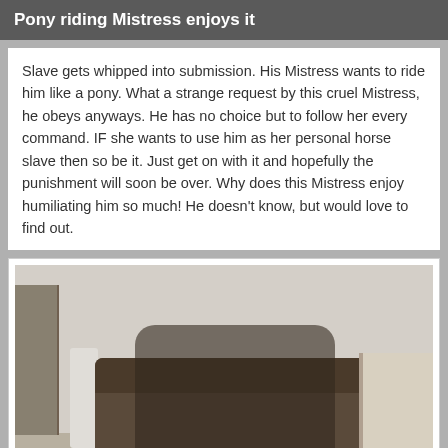Pony riding Mistress enjoys it
Slave gets whipped into submission. His Mistress wants to ride him like a pony. What a strange request by this cruel Mistress, he obeys anyways. He has no choice but to follow her every command. IF she wants to use him as her personal horse slave then so be it. Just get on with it and hopefully the punishment will soon be over. Why does this Mistress enjoy humiliating him so much! He doesn't know, but would love to find out.
[Figure (photo): A woman in black lingerie and stockings riding on a man's back in a living room setting with a leather sofa, decorative screen, and fireplace in the background.]